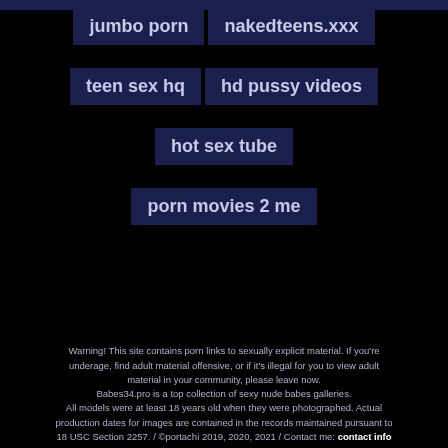jumbo porn
nakedteens.xxx
teen sex hq
hd pussy videos
hot sex tube
porn movies 2 me
Warning! This site contains porn links to sexually explicit material. If you're underage, find adult material offensive, or if it's illegal for you to view adult material in your community, please leave now. Babes34.pro is a top collection of sexy nude babes galleries. All models were at least 18 years old when they were photographed. Actual production dates for images are contained in the records maintained pursuant to 18 USC Section 2257. / ©portachi 2019, 2020, 2021 / Contact me: contact info